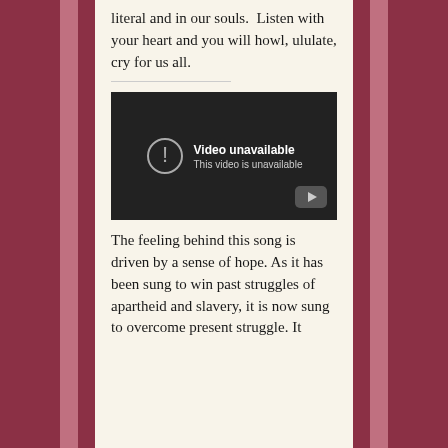literal and in our souls.  Listen with your heart and you will howl, ululate, cry for us all.
[Figure (screenshot): Embedded video player showing 'Video unavailable. This video is unavailable.' message on a dark background with a YouTube logo button in the bottom right corner.]
The feeling behind this song is driven by a sense of hope. As it has been sung to win past struggles of apartheid and slavery, it is now sung to overcome present struggle. It